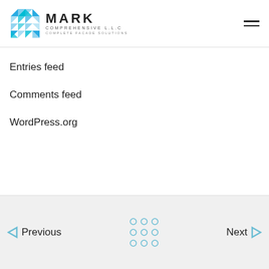MARK COMPREHENSIVE L.L.C — COMPLETE FACADE SOLUTIONS
Entries feed
Comments feed
WordPress.org
Previous | Next